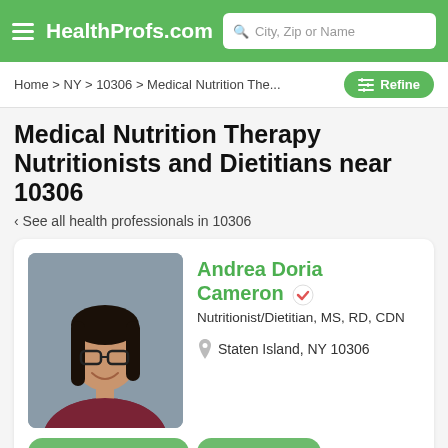HealthProfs.com
Home > NY > 10306 > Medical Nutrition The...
Medical Nutrition Therapy Nutritionists and Dietitians near 10306
‹ See all health professionals in 10306
[Figure (photo): Professional headshot of Andrea Doria Cameron, a woman with long dark hair, glasses, and a maroon blazer, smiling against a gray background.]
Andrea Doria Cameron
Nutritionist/Dietitian, MS, RD, CDN
Staten Island, NY 10306
Nutrition Counseling
Menu Planning